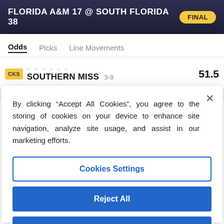FLORIDA A&M 17 @ SOUTH FLORIDA 38  FINAL
Odds  Picks  Line Movements
SOUTHERN MISS  3-9  51.5
By clicking “Accept All Cookies”, you agree to the storing of cookies on your device to enhance site navigation, analyze site usage, and assist in our marketing efforts.
Cookies Settings
Reject All
Accept All Cookies